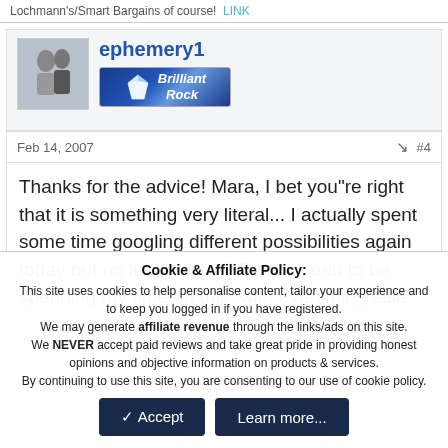Lochmann's/Smart Bargains of course!  LINK
ephemery1
[Figure (logo): Brilliant Rock badge with diamond icon on dark blue background]
Feb 14, 2007  #4
Thanks for the advice! Mara, I bet you"re right that it is something very literal... I actually spent some time googling different possibilities again today but no luck. Like I REALLY need to be spending my time on this, with everything else
Cookie & Affiliate Policy: This site uses cookies to help personalise content, tailor your experience and to keep you logged in if you have registered. We may generate affiliate revenue through the links/ads on this site. We NEVER accept paid reviews and take great pride in providing honest opinions and objective information on products & services. By continuing to use this site, you are consenting to our use of cookie policy.